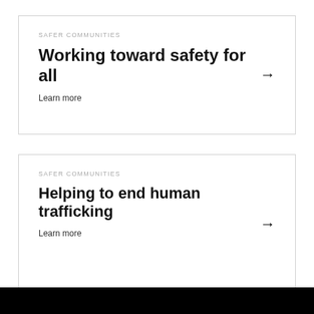SAFER COMMUNITIES
Working toward safety for all
Learn more
SAFER COMMUNITIES
Helping to end human trafficking
Learn more